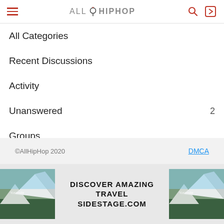AllHipHop
All Categories
Recent Discussions
Activity
Unanswered  2
Groups
Unanswered  2
Best Of
©AllHipHop 2020    DMCA
[Figure (infographic): Advertisement banner: landscape mountain photo on left and right, center text reads DISCOVER AMAZING TRAVEL SIDESTAGE.COM]